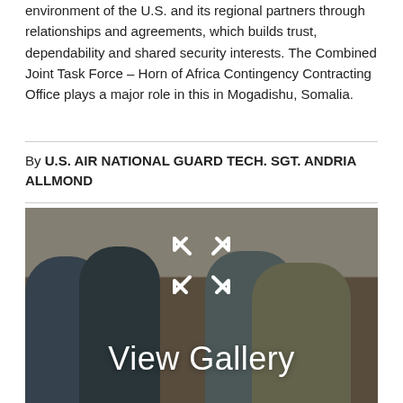environment of the U.S. and its regional partners through relationships and agreements, which builds trust, dependability and shared security interests. The Combined Joint Task Force – Horn of Africa Contingency Contracting Office plays a major role in this in Mogadishu, Somalia.
By U.S. AIR NATIONAL GUARD TECH. SGT. ANDRIA ALLMOND
[Figure (photo): A meeting scene with several people seated around a table with a laptop. Text overlay reads 'View Gallery' with an expand icon.]